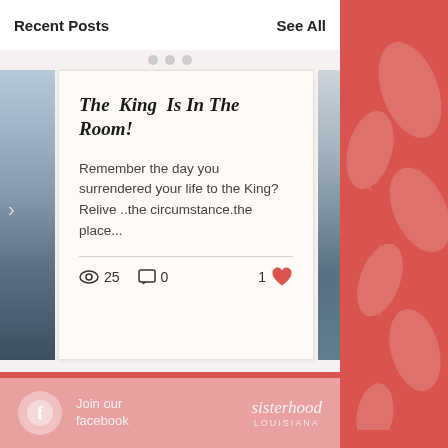Recent Posts    See All
The King Is In The Room!
Remember the day you surrendered your life to the King? Relive ..the circumstance.the place...
25 views  0 comments  1 like
[Figure (illustration): Facebook logo circle icon]
Join our facebook
sisterhood LOUISIANA